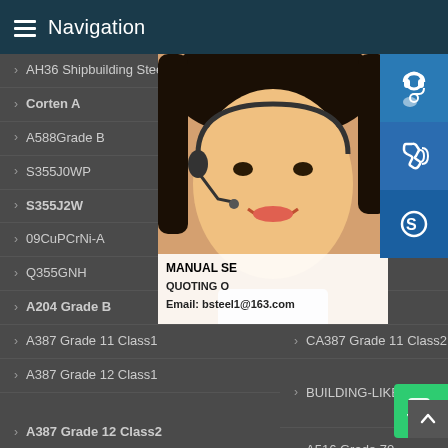Navigation
AH36 Shipbuilding Steel
AH40
Corten A
Corten
A588Grade B
SA588
S355J0WP
S355J
S355J2W
S355J
09CuPCrNi-A
05CuP
Q355GNH
Q355N
A204 Grade B
A285
A387 Grade 11 Class1
CA387 Grade 11 Class2
A387 Grade 12 Class1
BUILDING-LIKE SAND-MAKER
A387 Grade 12 Class2
A516 Grade 70
A537 Class 1
P235GH
[Figure (photo): Customer service representative woman with headset smiling, with contact icons (headset, phone, Skype) and email bsteel1@163.com overlay]